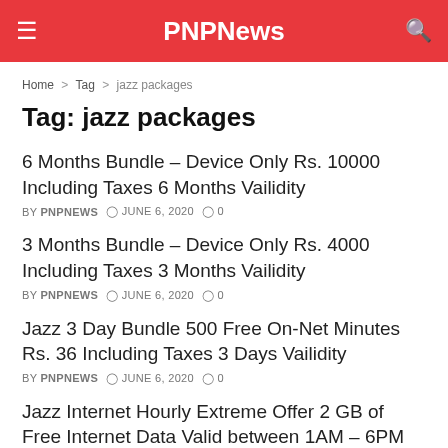PNPNews
Home > Tag > jazz packages
Tag: jazz packages
6 Months Bundle – Device Only Rs. 10000 Including Taxes 6 Months Vailidity
BY PNPNEWS  JUNE 6, 2020  0
3 Months Bundle – Device Only Rs. 4000 Including Taxes 3 Months Vailidity
BY PNPNEWS  JUNE 6, 2020  0
Jazz 3 Day Bundle 500 Free On-Net Minutes Rs. 36 Including Taxes 3 Days Vailidity
BY PNPNEWS  JUNE 6, 2020  0
Jazz Internet Hourly Extreme Offer 2 GB of Free Internet Data Valid between 1AM – 6PM Rs. 20.32 Including Taxes